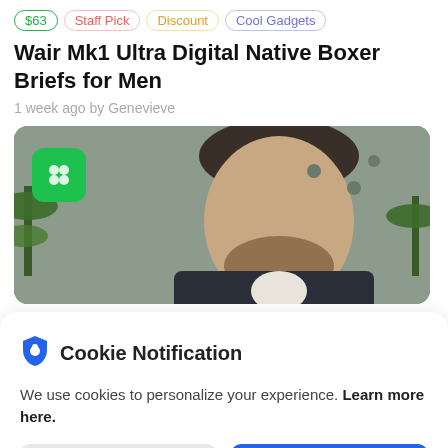$63  Staff Pick  Discount  Cool Gadgets
Wair Mk1 Ultra Digital Native Boxer Briefs for Men
1 week ago by Genevieve
[Figure (photo): Photo of a bearded man in a suit jacket against a concrete/industrial background with green plants; green app icon overlay in top-left corner]
Cookie Notification
We use cookies to personalize your experience. Learn more here.
I Don't Accept
I Accept